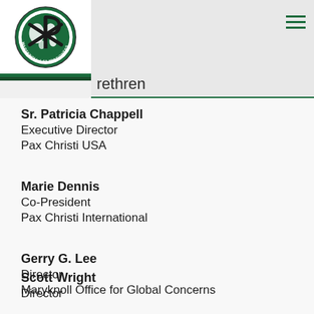[Figure (logo): Maryknoll Sisters Fathers & Brothers / Maryknoll Lay Missioners circular logo with Chi Rho symbol and globe]
...rethren
Sr. Patricia Chappell
Executive Director
Pax Christi USA
Marie Dennis
Co-President
Pax Christi International
Gerry G. Lee
Director
Maryknoll Office for Global Concerns
Scott Wright
Director